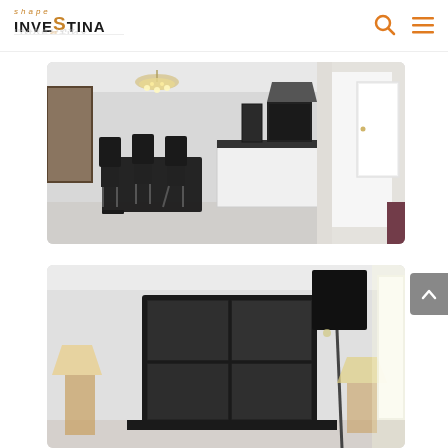[Figure (logo): Investina logo with stylized gold S and text INVESTINA in bold uppercase, with decorative reflection]
[Figure (photo): Interior photo of a modern open-plan living/dining/kitchen area with black dining chairs around a black table, white kitchen island, crystal chandelier, and view of a hallway with white door]
[Figure (photo): Interior photo of a bedroom showing a large black-framed mirror/headboard, bedside lamps, and a window with natural light]